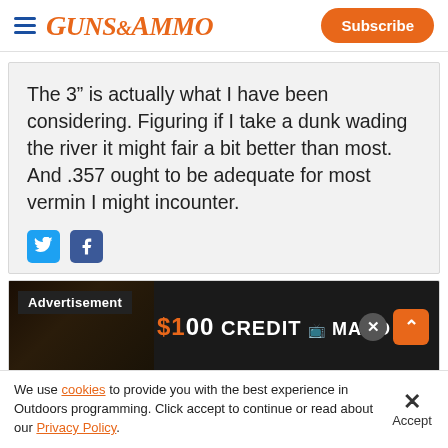Guns & Ammo — Subscribe
The 3" is actually what I have been considering. Figuring if I take a dunk wading the river it might fair a bit better than most. And .357 ought to be adequate for most vermin I might incounter.
[Figure (screenshot): Social sharing icons: Twitter (blue bird) and Facebook (blue f)]
[Figure (screenshot): Advertisement banner: Advertisement label, Kimber dark image, $100 CREDIT MAKO text, close button X, orange chevron up button]
We use cookies to provide you with the best experience in Outdoors programming. Click accept to continue or read about our Privacy Policy.